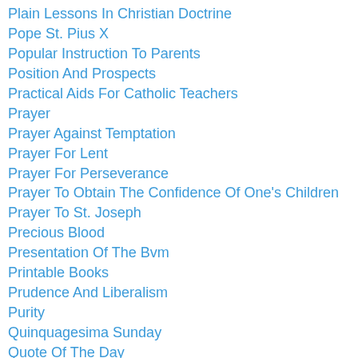Plain Lessons In Christian Doctrine
Pope St. Pius X
Popular Instruction To Parents
Position And Prospects
Practical Aids For Catholic Teachers
Prayer
Prayer Against Temptation
Prayer For Lent
Prayer For Perseverance
Prayer To Obtain The Confidence Of One's Children
Prayer To St. Joseph
Precious Blood
Presentation Of The Bvm
Printable Books
Prudence And Liberalism
Purity
Quinquagesima Sunday
Quote Of The Day
Quote Of The Day
Rearing Of Children
Reason And Revelation